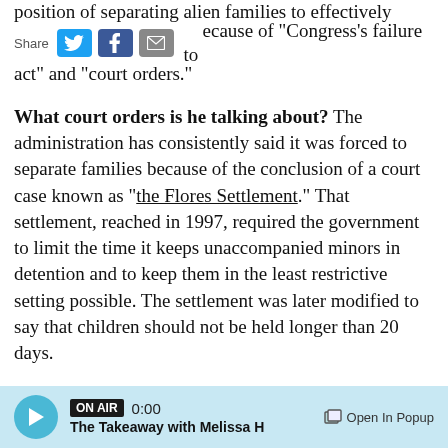position of separating alien families to effectively
[Figure (screenshot): Social media share bar with Twitter, Facebook, and Email icons, with 'Share' label]
ecause of "Congress's failure to act" and "court orders."
What court orders is he talking about? The administration has consistently said it was forced to separate families because of the conclusion of a court case known as "the Flores Settlement." That settlement, reached in 1997, required the government to limit the time it keeps unaccompanied minors in detention and to keep them in the least restrictive setting possible. The settlement was later modified to say that children should not be held longer than 20 days.
Trump's executive order directs the attorney
[Figure (screenshot): Audio player bar at bottom: ON AIR badge, 0:00, The Takeaway with Melissa H, Open In Popup button]